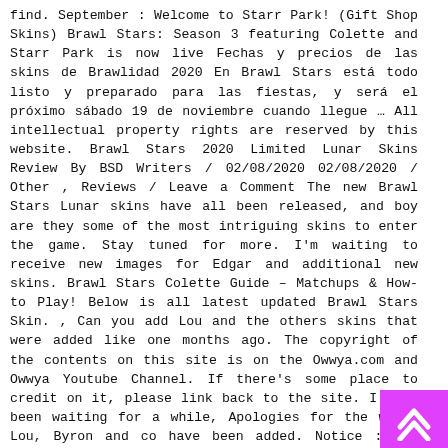find. September : Welcome to Starr Park! (Gift Shop Skins) Brawl Stars: Season 3 featuring Colette and Starr Park is now live Fechas y precios de las skins de Brawlidad 2020 En Brawl Stars está todo listo y preparado para las fiestas, y será el próximo sábado 19 de noviembre cuando llegue … All intellectual property rights are reserved by this website. Brawl Stars 2020 Limited Lunar Skins Review By BSD Writers / 02/08/2020 02/08/2020 / Other , Reviews / Leave a Comment The new Brawl Stars Lunar skins have all been released, and boy are they some of the most intriguing skins to enter the game. Stay tuned for more. I'm waiting to receive new images for Edgar and additional new skins. Brawl Stars Colette Guide – Matchups & How-to Play! Below is all latest updated Brawl Stars Skin. , Can you add Lou and the others skins that were added like one months ago. The copyright of the contents on this site is on the Owwya.com and Owwya Youtube Channel. If there's some place to credit on it, please link back to the site. I have been waiting for a while, Apologies for the wait, Lou, Byron and co have been added. Notice : All images in this page is copyrighted. I hope I added everything. © 2019-2020 OwwYa.com. oyun dünyası, oyun oyunlar hakkında daha fazla fikir görün. Tournoi brawl stars … Follow - Unfollow 4px arm (Classic) Background Zombibi brawl stars ...